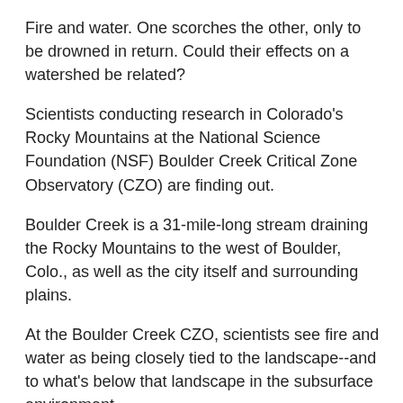Fire and water. One scorches the other, only to be drowned in return. Could their effects on a watershed be related?
Scientists conducting research in Colorado's Rocky Mountains at the National Science Foundation (NSF) Boulder Creek Critical Zone Observatory (CZO) are finding out.
Boulder Creek is a 31-mile-long stream draining the Rocky Mountains to the west of Boulder, Colo., as well as the city itself and surrounding plains.
At the Boulder Creek CZO, scientists see fire and water as being closely tied to the landscape--and to what's below that landscape in the subsurface environment.
"Ultimately, it's the landscape that controls where fires are most likely," says scientist Suzanne Anderson of